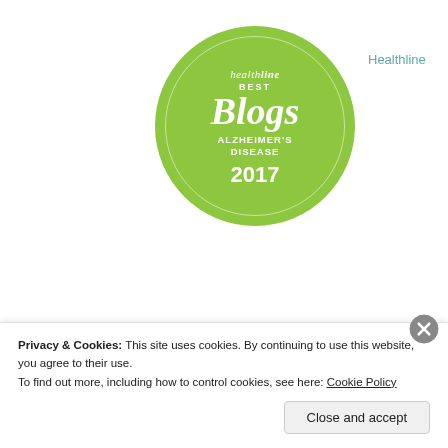[Figure (logo): Healthline Best Blogs Alzheimer's Disease 2017 badge — circular green badge with white text]
Healthline
Privacy & Cookies: This site uses cookies. By continuing to use this website, you agree to their use.
To find out more, including how to control cookies, see here: Cookie Policy
Close and accept